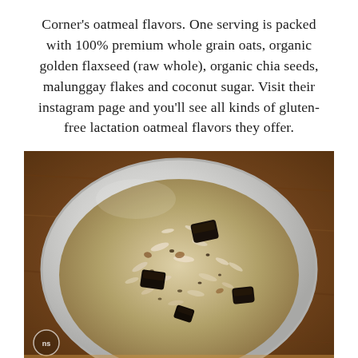Corner's oatmeal flavors. One serving is packed with 100% premium whole grain oats, organic golden flaxseed (raw whole), organic chia seeds, malunggay flakes and coconut sugar. Visit their instagram page and you'll see all kinds of gluten-free lactation oatmeal flavors they offer.
[Figure (photo): Overhead view of a white ceramic bowl filled with dry oatmeal mixture containing visible oat flakes, dark chocolate or cookie chunks, and seeds, placed on a wooden surface. A small circular watermark logo with 'ns' is visible in the bottom-left corner of the image.]